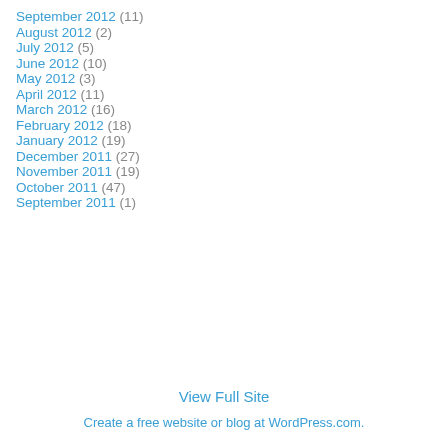September 2012 (11)
August 2012 (2)
July 2012 (5)
June 2012 (10)
May 2012 (3)
April 2012 (11)
March 2012 (16)
February 2012 (18)
January 2012 (19)
December 2011 (27)
November 2011 (19)
October 2011 (47)
September 2011 (1)
View Full Site
Create a free website or blog at WordPress.com.